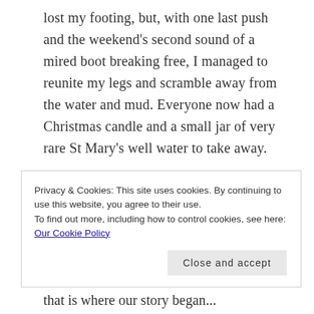lost my footing, but, with one last push and the weekend's second sound of a mired boot breaking free, I managed to reunite my legs and scramble away from the water and mud. Everyone now had a Christmas candle and a small jar of very rare St Mary's well water to take away.
Moments later, with jars tucked safely into travel bags, we hugged and said our goodbyes. The Keys of Heaven workshop was over; and it had been a success. In silence, I drove back to Runswick Bay
Privacy & Cookies: This site uses cookies. By continuing to use this website, you agree to their use.
To find out more, including how to control cookies, see here: Our Cookie Policy
that is where our story began...